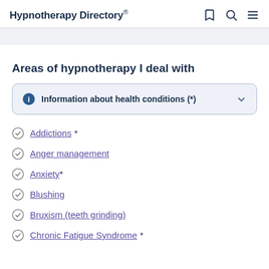Hypnotherapy Directory
Areas of hypnotherapy I deal with
Information about health conditions (*)
Addictions *
Anger management
Anxiety *
Blushing
Bruxism (teeth grinding)
Chronic Fatigue Syndrome *